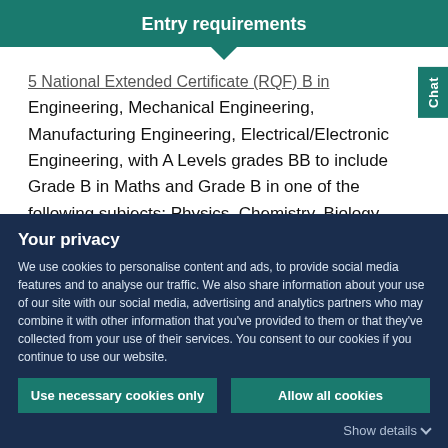Entry requirements
5 National Extended Certificate (RQF) B in Engineering, Mechanical Engineering, Manufacturing Engineering, Electrical/Electronic Engineering, with A Levels grades BB to include Grade B in Maths and Grade B in one of the following subjects; Physics, Chemistry, Biology, Geography, Geology, Environmental Science, Environment Studies,
Your privacy
We use cookies to personalise content and ads, to provide social media features and to analyse our traffic. We also share information about your use of our site with our social media, advertising and analytics partners who may combine it with other information that you've provided to them or that they've collected from your use of their services. You consent to our cookies if you continue to use our website.
Use necessary cookies only
Allow all cookies
Show details